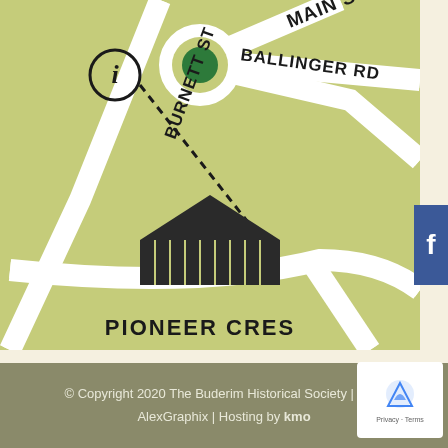[Figure (map): Street map showing intersection of Main St, Ballinger Rd, Burnett St, and Pioneer Cres with a dashed line from an information point to a building (Pioneer Cottage). Green olive background with white roads.]
© Copyright 2020 The Buderim Historical Society | Designed by AlexGraphix | Hosting by kmo